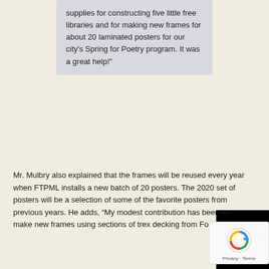supplies for constructing five little free libraries and for making new frames for about 20 laminated posters for our city's Spring for Poetry program. It was a great help!"
Mr. Mulbry also explained that the frames will be reused every year when FTPML installs a new batch of 20 posters. The 2020 set of posters will be a selection of some of the favorite posters from previous years. He adds, “My modest contribution has been to make new frames using sections of trex decking from Forklift.”
In addition to the little library and Spring for Poetry programs, FTPML also runs book clubs, poetry readings, learning and craft activities, author visits, book sales, an after-hours book drop box, books for an after-school program at the New Hampshire Recreation Avenue Center, and more.
If you’d like to help Community Forklift support